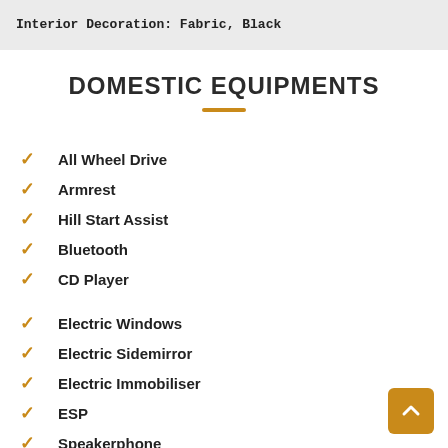Interior Decoration: Fabric, Black
DOMESTIC EQUIPMENTS
All Wheel Drive
Armrest
Hill Start Assist
Bluetooth
CD Player
Electric Windows
Electric Sidemirror
Electric Immobiliser
ESP
Speakerphone